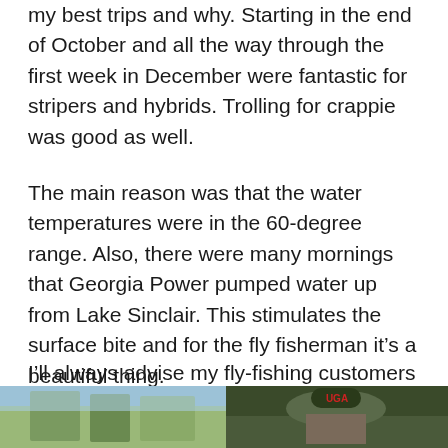my best trips and why. Starting in the end of October and all the way through the first week in December were fantastic for stripers and hybrids. Trolling for crappie was good as well.
The main reason was that the water temperatures were in the 60-degree range. Also, there were many mornings that Georgia Power pumped water up from Lake Sinclair. This stimulates the surface bite and for the fly fisherman it’s a beautiful thing.
I’ll always advise my fly-fishing customers of the conditions before the trip. If you spin fish too, that’s a great back up plan.
[Figure (photo): Two photos side by side at bottom of page: left photo shows trees/nature scene with blue sky; right photo shows a person wearing a cap outdoors.]